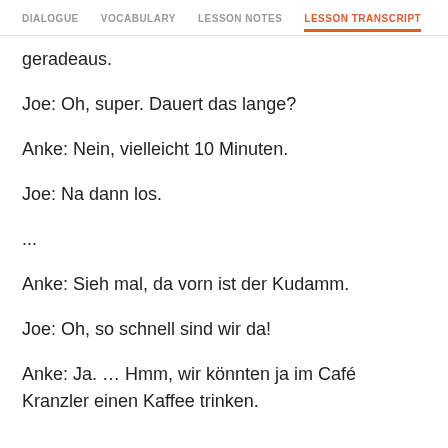DIALOGUE   VOCABULARY   LESSON NOTES   LESSON TRANSCRIPT
geradeaus.
Joe: Oh, super. Dauert das lange?
Anke: Nein, vielleicht 10 Minuten.
Joe: Na dann los.
...
Anke: Sieh mal, da vorn ist der Kudamm.
Joe: Oh, so schnell sind wir da!
Anke: Ja. … Hmm, wir könnten ja im Café Kranzler einen Kaffee trinken.